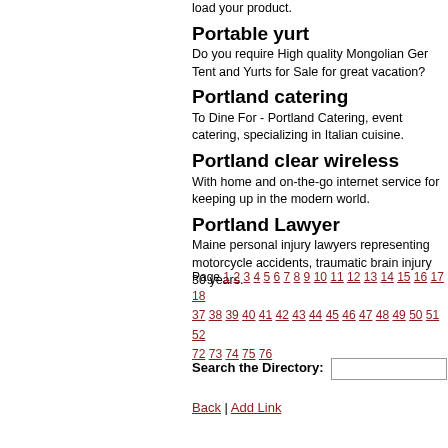load your product.
Portable yurt
Do you require High quality Mongolian Ger Tent and Yurts for Sale for great vacation?
Portland catering
To Dine For - Portland Catering, event catering, specializing in Italian cuisine.
Portland clear wireless
With home and on-the-go internet service for keeping up in the modern world.
Portland Lawyer
Maine personal injury lawyers representing motorcycle accidents, traumatic brain injury 30 years.
Page 1 2 3 4 5 6 7 8 9 10 11 12 13 14 15 16 17 18 37 38 39 40 41 42 43 44 45 46 47 48 49 50 51 52 72 73 74 75 76
Search the Directory:
Back | Add Link